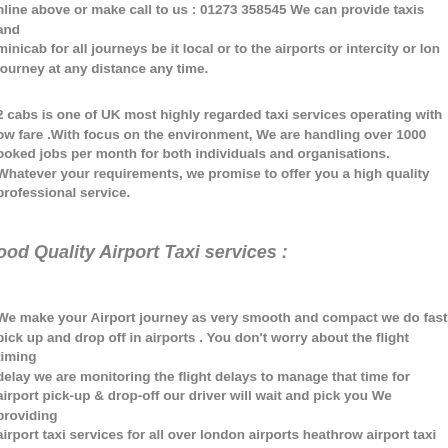nline above or make call to us : 01273 358545 We can provide taxis and minicab for all journeys be it local or to the airports or intercity or long journey at any distance any time.
2 cabs is one of UK most highly regarded taxi services operating with low fare .With focus on the environment, We are handling over 1000 booked jobs per month for both individuals and organisations. Whatever your requirements, we promise to offer you a high quality professional service.
Good Quality Airport Taxi services :
We make your Airport journey as very smooth and compact we do fast pick up and drop off in airports . You don't worry about the flight timing delay we are monitoring the flight delays to manage that time for airport pick-up & drop-off our driver will wait and pick you We providing airport taxi services for all over london airports heathrow airport taxi services , gatwick airport taxi services, london city airport taxi services ,stansted airport taxi services , luton airport taxi services etc.,all UK airports our taxi services available at all airports , cruise ports , stations any time . Reserve your taxis online before you fly ,our taxi drivers are ready to welcome you our taxi services .Get a special